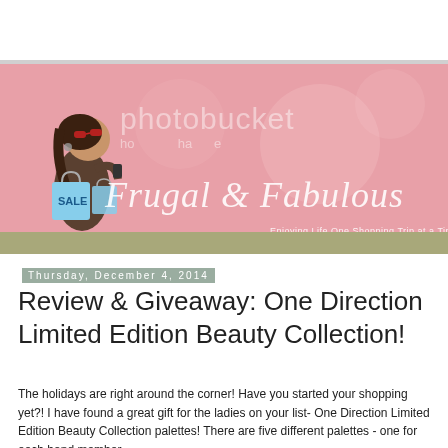[Figure (illustration): Blog header banner for 'Frugal & Fabulous' blog. Pink background with an illustrated shopping girl holding bags with a SALE tag, photobucket watermark text, and the blog name 'Frugal & Fabulous - Enjoying Life One Shopping Trip at a Time' overlaid in white italic text.]
Thursday, December 4, 2014
Review & Giveaway: One Direction Limited Edition Beauty Collection!
The holidays are right around the corner! Have you started your shopping yet?! I have found a great gift for the ladies on your list- One Direction Limited Edition Beauty Collection palettes! There are five different palettes - one for each band member.